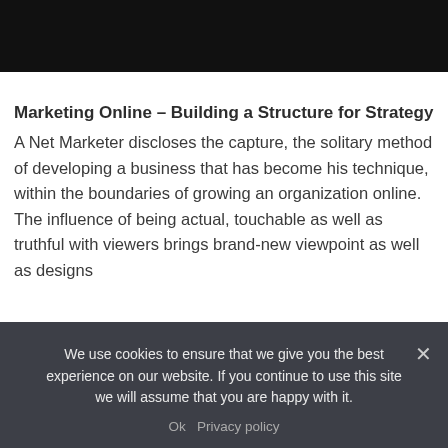[Figure (other): Black header bar at top of webpage]
Marketing Online – Building a Structure for Strategy
A Net Marketer discloses the capture, the solitary method of developing a business that has become his technique, within the boundaries of growing an organization online. The influence of being actual, touchable as well as truthful with viewers brings brand-new viewpoint as well as designs
We use cookies to ensure that we give you the best experience on our website. If you continue to use this site we will assume that you are happy with it.
Ok   Privacy policy